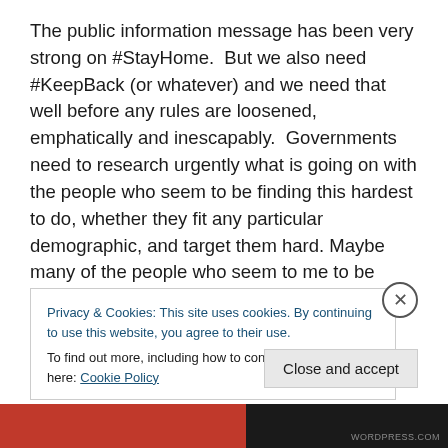The public information message has been very strong on #StayHome.  But we also need #KeepBack (or whatever) and we need that well before any rules are loosened, emphatically and inescapably.  Governments need to research urgently what is going on with the people who seem to be finding this hardest to do, whether they fit any particular demographic, and target them hard. Maybe many of the people who seem to me to be radiating a low level sense of fury at any disruption to their normality are in fact just scared or preoccupied.  Maybe others think
Privacy & Cookies: This site uses cookies. By continuing to use this website, you agree to their use.
To find out more, including how to control cookies, see here: Cookie Policy